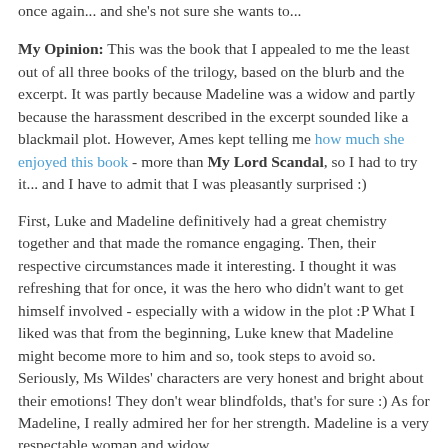once again... and she's not sure she wants to...
My Opinion: This was the book that I appealed to me the least out of all three books of the trilogy, based on the blurb and the excerpt. It was partly because Madeline was a widow and partly because the harassment described in the excerpt sounded like a blackmail plot. However, Ames kept telling me how much she enjoyed this book - more than My Lord Scandal, so I had to try it... and I have to admit that I was pleasantly surprised :)
First, Luke and Madeline definitively had a great chemistry together and that made the romance engaging. Then, their respective circumstances made it interesting. I thought it was refreshing that for once, it was the hero who didn't want to get himself involved - especially with a widow in the plot :P What I liked was that from the beginning, Luke knew that Madeline might become more to him and so, took steps to avoid so. Seriously, Ms Wildes' characters are very honest and bright about their emotions! They don't wear blindfolds, that's for sure :) As for Madeline, I really admired her for her strength. Madeline is a very respectable woman and widow